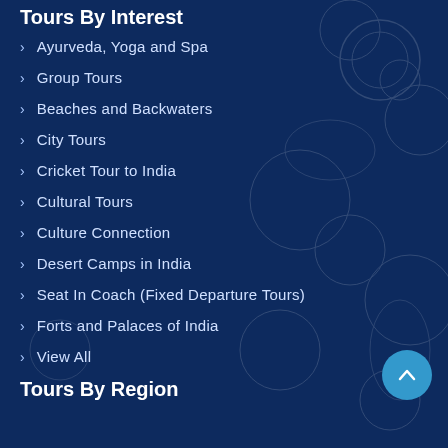Tours By Interest
Ayurveda, Yoga and Spa
Group Tours
Beaches and Backwaters
City Tours
Cricket Tour to India
Cultural Tours
Culture Connection
Desert Camps in India
Seat In Coach (Fixed Departure Tours)
Forts and Palaces of India
View All
Tours By Region